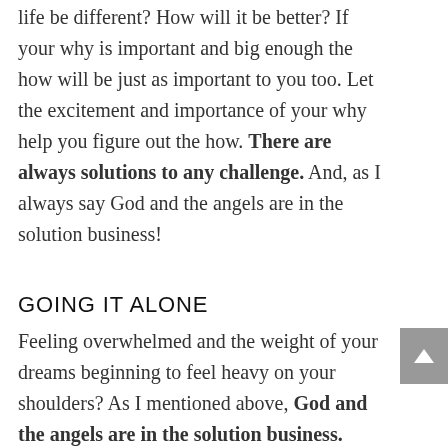life be different? How will it be better? If your why is important and big enough the how will be just as important to you too. Let the excitement and importance of your why help you figure out the how. There are always solutions to any challenge. And, as I always say God and the angels are in the solution business!
GOING IT ALONE
Feeling overwhelmed and the weight of your dreams beginning to feel heavy on your shoulders? As I mentioned above, God and the angels are in the solution business. Have you asked for help? Maybe you need to ask for earthly help to show up too. Who is already in your life that...